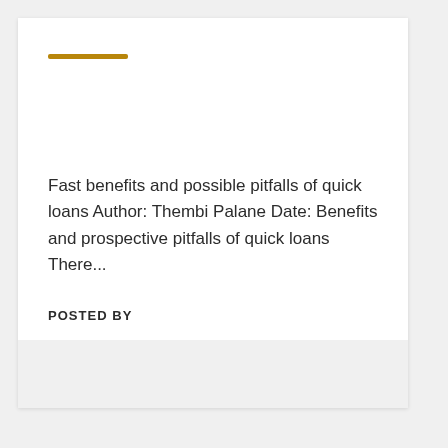Fast benefits and possible pitfalls of quick loans Author: Thembi Palane Date: Benefits and prospective pitfalls of quick loans There...
POSTED BY